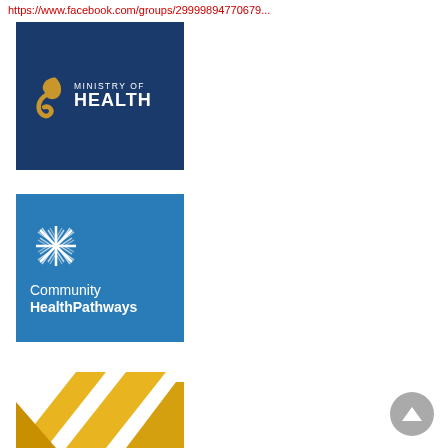https://www.facebook.com/groups/29999894770679...
[Figure (logo): Ministry of Health logo — dark navy blue square with gold stylized '6' or ribbon symbol on left, and white text 'MINISTRY OF' (small caps) above 'HEALTH' (large bold) on right]
[Figure (logo): Community HealthPathways logo — medium blue square with white snowflake/cross pattern symbol above white text 'Community' and 'HealthPathways']
[Figure (logo): Partial logo at bottom — yellow/gold geometric chevron shapes visible, partially cropped]